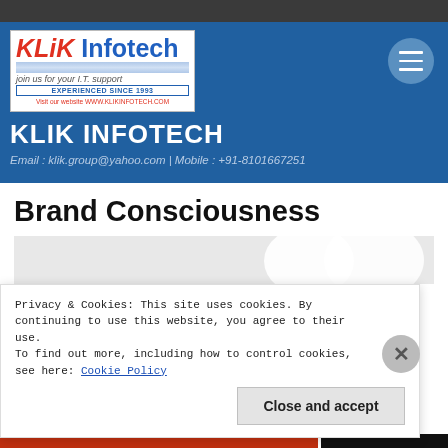[Figure (logo): KLiK Infotech company logo with tagline 'join us for your I.T. support', 'EXPERIENCED SINCE 1993', and website URL WWW.KLIKINFOTECH.COM]
KLIK INFOTECH
Email : klik.group@yahoo.com | Mobile : +91-8101667251
Brand Consciousness
Privacy & Cookies: This site uses cookies. By continuing to use this website, you agree to their use.
To find out more, including how to control cookies, see here: Cookie Policy
Close and accept